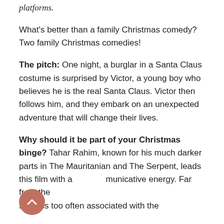platforms.
What's better than a family Christmas comedy? Two family Christmas comedies!
The pitch: One night, a burglar in a Santa Claus costume is surprised by Victor, a young boy who believes he is the real Santa Claus. Victor then follows him, and they embark on an unexpected adventure that will change their lives.
Why should it be part of your Christmas binge? Tahar Rahim, known for his much darker parts in The Mauritanian and The Serpent, leads this film with a communicative energy. Far from the silliness too often associated with the
[Figure (illustration): A circular terracotta/salmon colored button with an upward-pointing chevron arrow icon, used as a scroll-to-top button.]